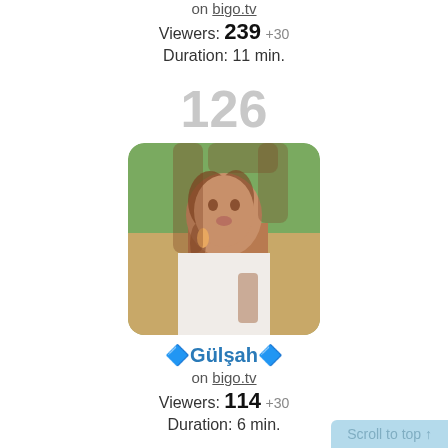on bigo.tv
Viewers: 239 +30
Duration: 11 min.
126
[Figure (photo): Profile photo of a woman with long curly hair, wearing a white top and yellow earrings, hand resting on her cheek, outdoors with green trees in background, tattoo visible on forearm.]
🔷Gülşah🔷
on bigo.tv
Viewers: 114 +30
Duration: 6 min.
Scroll to top ↑